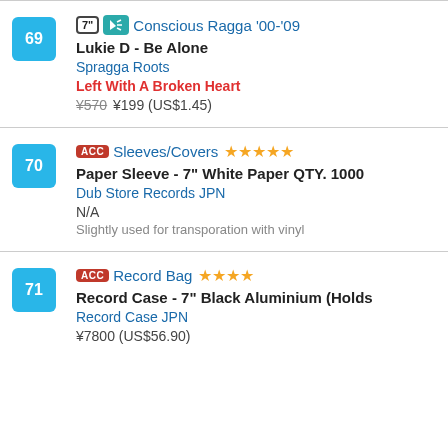69 | 7" [audio] Conscious Ragga '00-'09 | Lukie D - Be Alone | Spragga Roots | Left With A Broken Heart | ¥570 ¥199 (US$1.45)
70 | ACC Sleeves/Covers ★★★★★ | Paper Sleeve - 7" White Paper QTY. 1000 | Dub Store Records JPN | N/A | Slightly used for transporation with vinyl
71 | ACC Record Bag ★★★★ | Record Case - 7" Black Aluminium (Holds... | Record Case JPN | ¥7800 (US$56.90)